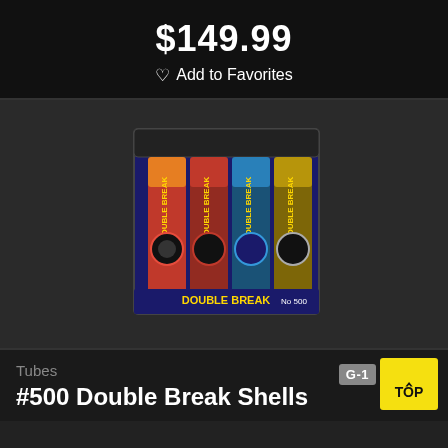$149.99
♡ Add to Favorites
[Figure (photo): Product photo of Double Break #500 Shells fireworks kit in a box, showing four tubes labeled 'Double Break Shells' with fireworks imagery on packaging]
Tubes
G-1
#500 Double Break Shells